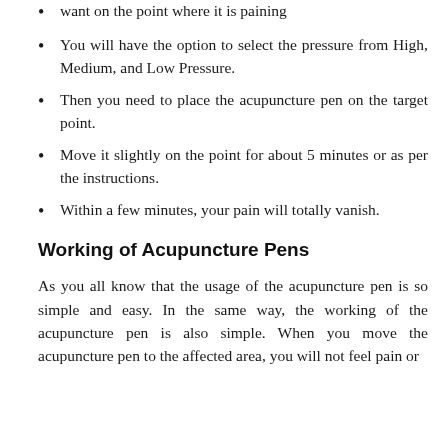want on the point where it is paining
You will have the option to select the pressure from High, Medium, and Low Pressure.
Then you need to place the acupuncture pen on the target point.
Move it slightly on the point for about 5 minutes or as per the instructions.
Within a few minutes, your pain will totally vanish.
Working of Acupuncture Pens
As you all know that the usage of the acupuncture pen is so simple and easy. In the same way, the working of the acupuncture pen is also simple. When you move the acupuncture pen to the affected area, you will not feel pain or